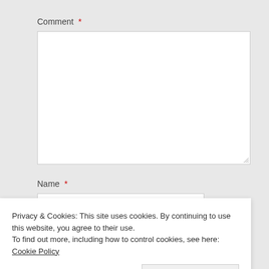Comment *
[Figure (screenshot): Empty textarea input box for comment field]
Name *
[Figure (screenshot): Empty text input box for Name field]
Privacy & Cookies: This site uses cookies. By continuing to use this website, you agree to their use.
To find out more, including how to control cookies, see here: Cookie Policy
Close and accept
Website